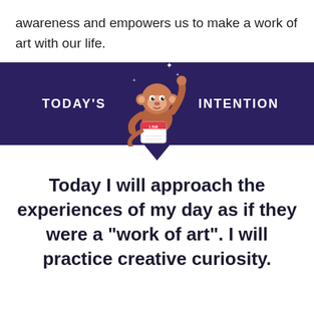awareness and empowers us to make a work of art with our life.
[Figure (infographic): Dark purple banner reading TODAY'S INTENTION with a cartoon monkey holding an I AM calendar sign in the center, and a downward pointing arrow below the banner.]
Today I will approach the experiences of my day as if they were a “work of art”.  I will practice creative curiosity.